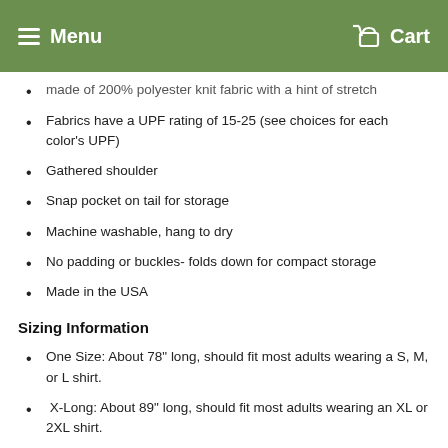Menu   Cart
made of 200% polyester knit fabric with a hint of stretch
Fabrics have a UPF rating of 15-25 (see choices for each color's UPF)
Gathered shoulder
Snap pocket on tail for storage
Machine washable, hang to dry
No padding or buckles- folds down for compact storage
Made in the USA
Sizing Information
One Size: About 78" long, should fit most adults wearing a S, M, or L shirt.
X-Long: About 89" long, should fit most adults wearing an XL or 2XL shirt.
As the ring sling fabric is a little stretchy, there is some